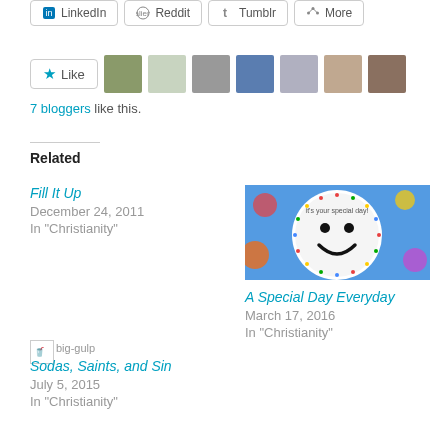[Figure (screenshot): Social share buttons row: LinkedIn, Reddit, Tumblr, More]
[Figure (screenshot): Like button with star icon and 7 blogger avatars]
7 bloggers like this.
Related
Fill It Up
December 24, 2011
In "Christianity"
[Figure (photo): Smiley face on a special day plate with colorful background]
A Special Day Everyday
March 17, 2016
In "Christianity"
[Figure (illustration): Small big-gulp image thumbnail]
Sodas, Saints, and Sin
July 5, 2015
In "Christianity"